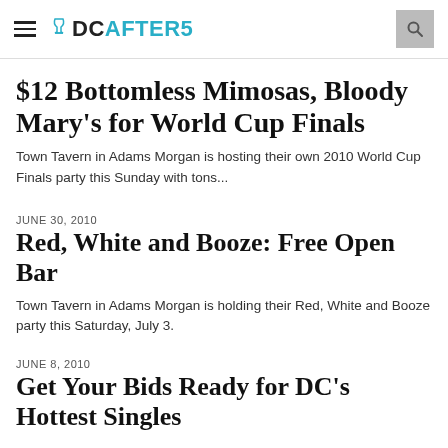DCAFTER5
$12 Bottomless Mimosas, Bloody Mary's for World Cup Finals
Town Tavern in Adams Morgan is hosting their own 2010 World Cup Finals party this Sunday with tons...
JUNE 30, 2010
Red, White and Booze: Free Open Bar
Town Tavern in Adams Morgan is holding their Red, White and Booze party this Saturday, July 3.
JUNE 8, 2010
Get Your Bids Ready for DC's Hottest Singles